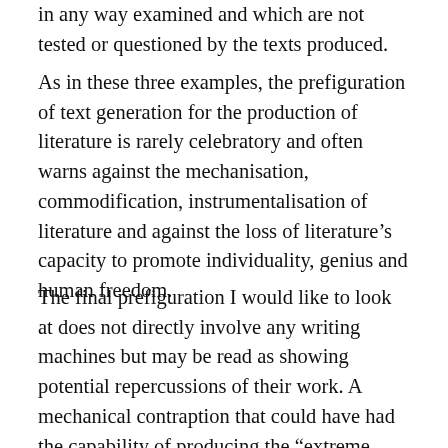in any way examined and which are not tested or questioned by the texts produced.
As in these three examples, the prefiguration of text generation for the production of literature is rarely celebratory and often warns against the mechanisation, commodification, instrumentalisation of literature and against the loss of literature’s capacity to promote individuality, genius and human freedom.
The final prefiguration I would like to look at does not directly involve any writing machines but may be read as showing potential repercussions of their work. A mechanical contraption that could have had the capability of producing the “extreme obscene”, though “not